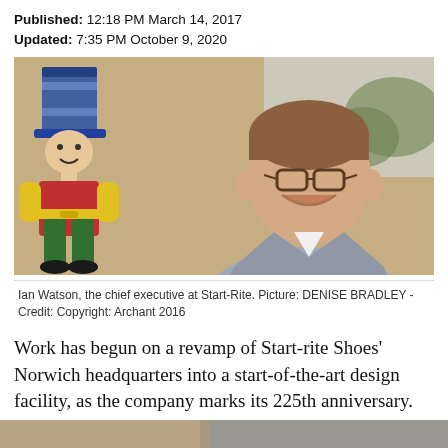Published: 12:18 PM March 14, 2017
Updated: 7:35 PM October 9, 2020
[Figure (photo): Ian Watson, the chief executive at Start-Rite, smiling in front of a brick wall with a large colourful mascot figure (soldier/toy character) mounted on the wall. He is wearing glasses and a grey suit.]
Ian Watson, the chief executive at Start-Rite. Picture: DENISE BRADLEY - Credit: Copyright: Archant 2016
Work has begun on a revamp of Start-rite Shoes' Norwich headquarters into a start-of-the-art design facility, as the company marks its 225th anniversary.
[Figure (photo): Partial image at the bottom of the page, cropped.]